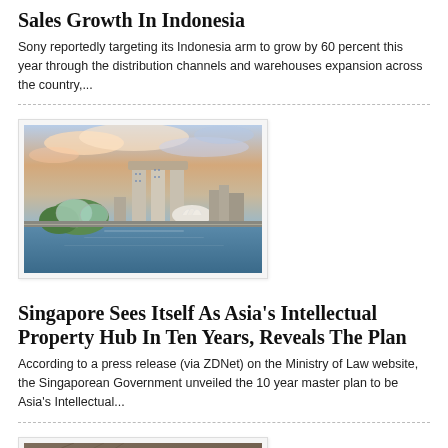Sales Growth In Indonesia
Sony reportedly targeting its Indonesia arm to grow by 60 percent this year through the distribution channels and warehouses expansion across the country,...
[Figure (photo): Aerial photo of Singapore skyline featuring Marina Bay Sands hotel and surrounding waterways]
Singapore Sees Itself As Asia's Intellectual Property Hub In Ten Years, Reveals The Plan
According to a press release (via ZDNet) on the Ministry of Law website, the Singaporean Government unveiled the 10 year master plan to be Asia's Intellectual...
[Figure (photo): Photo of LG Optimus smartphone device on a textured surface with red berries/fruits nearby]